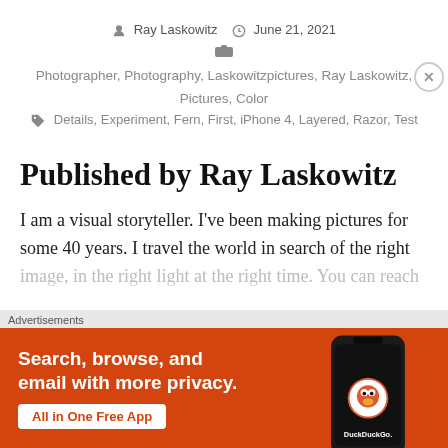Ray Laskowitz   June 21, 2021
Photographer, Photography, Laskowitzpictures, Ray Laskowitz, Pictures, Color
Details, Experiment, Fern, First, iPhone 4, Layered, Razor, Test
Published by Ray Laskowitz
I am a visual storyteller. I've been making pictures for some 40 years. I travel the world in search of the right image, in the right light at the right time. You can reach
Advertisements
[Figure (screenshot): DuckDuckGo advertisement banner: orange background with white bold text 'Search, browse, and email with more privacy.' and a white button 'All in One Free App', alongside a dark smartphone showing the DuckDuckGo logo and wordmark.]